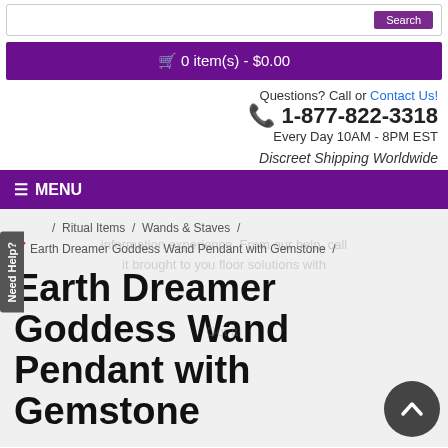0 item(s) - $0.00
Questions? Call or Contact Us!
📞 1-877-822-3318
Every Day 10AM - 8PM EST
Discreet Shipping Worldwide
≡ MENU
Need Help?
/ Ritual Items / Wands & Staves /
Earth Dreamer Goddess Wand Pendant with Gemstone /
Earth Dreamer Goddess Wand Pendant with Gemstone